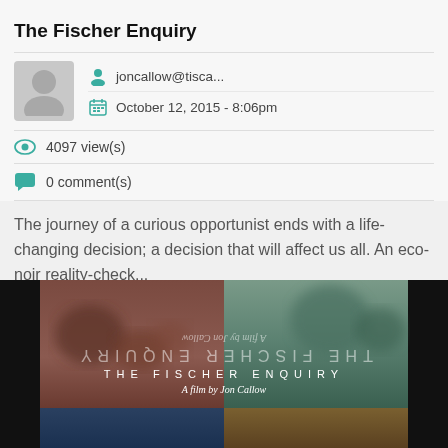The Fischer Enquiry
joncallow@tisca...
October 12, 2015 - 8:06pm
4097 view(s)
0 comment(s)
The journey of a curious opportunist ends with a life-changing decision; a decision that will affect us all. An eco-noir reality-check...
[Figure (photo): Film poster for The Fischer Enquiry showing split-image of blurred landscape scenes in reddish-brown and green tones with title text 'THE FISCHER ENQUIRY' and 'A film by Jon Callow', with a mirrored/flipped version below]